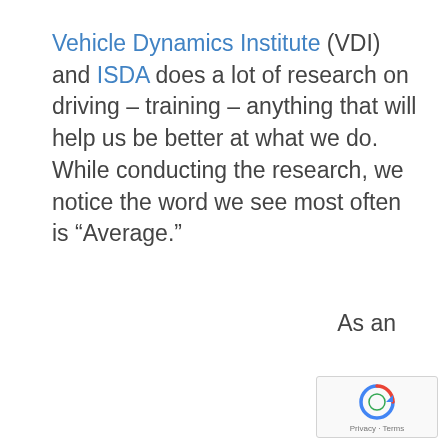Vehicle Dynamics Institute (VDI) and ISDA does a lot of research on driving – training – anything that will help us be better at what we do. While conducting the research, we notice the word we see most often is “Average.”
As an
[Figure (other): reCAPTCHA widget with spinning arrow icon and Privacy · Terms footer text]